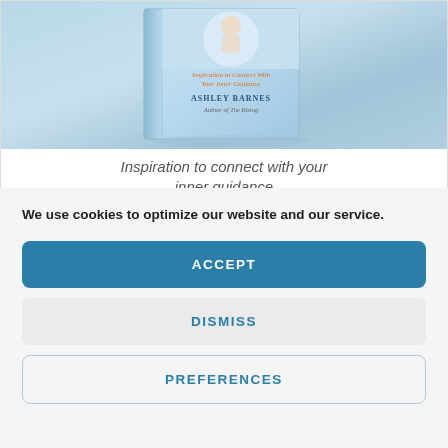[Figure (photo): Book cover partially visible showing 'Inspiration to Connect with Your Inner Guidance' by Ashley Barnes, Author of The Rising. Book is displayed in a light blue/aqua gradient background.]
Inspiration to connect with your inner guidance
We use cookies to optimize our website and our service.
ACCEPT
DISMISS
PREFERENCES